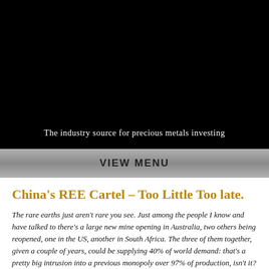The industry source for precious metals investing
VIEW MENU
China's REE Cartel – Too Little Too late.
The rare earths just aren't rare you see. Just among the people I know and have talked to there's a large new mine opening in Australia, two others being reopened, one in the US, another in South Africa. The three of them together, given a couple of years, could be supplying 40% of world demand: that's a pretty big intrusion into a previous monopoly over 97% of production, isn't it? And that's before we start talking about the other four or five similar sized mines that are working through the